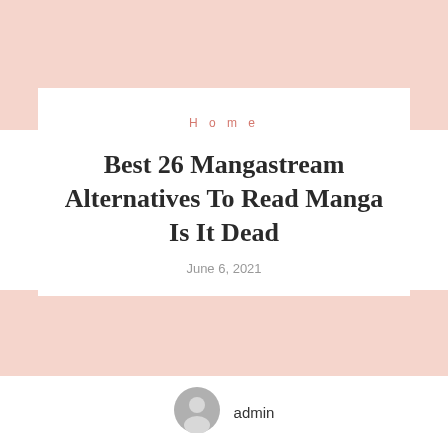[Figure (other): Light pink/salmon colored banner block at the top of the page]
H o m e
Best 26 Mangastream Alternatives To Read Manga Is It Dead
June 6, 2021
[Figure (other): Light pink/salmon colored banner block in the lower portion of the page]
[Figure (photo): Circular gray user avatar/profile icon for admin user]
admin